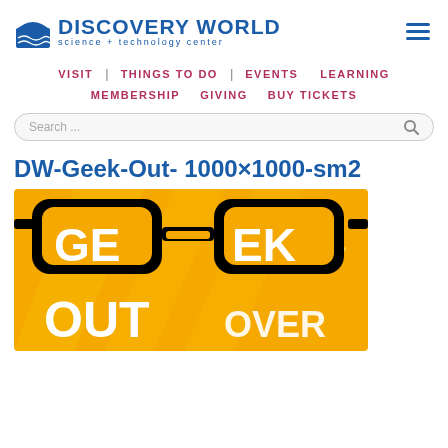Discovery World science + technology center — navigation menu
VISIT | THINGS TO DO | EVENTS | LEARNING
MEMBERSHIP | GIVING | BUY TICKETS
Search ...
DW-Geek-Out- 1000×1000-sm2
[Figure (photo): A promotional image showing large black-framed nerd glasses over an orange background with the text 'GEEK OUT OVER' in bold white letters. The image is a promotional banner for a Discovery World Geek Out event.]